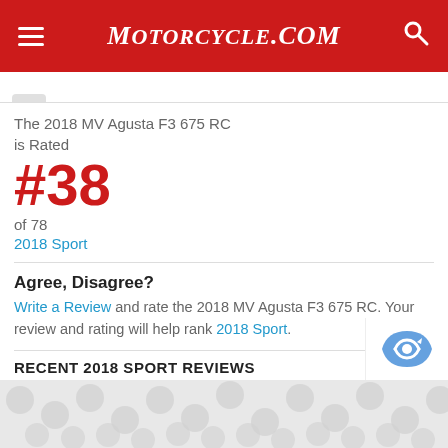Motorcycle.com
The 2018 MV Agusta F3 675 RC is Rated
#38
of 78
2018 Sport
Agree, Disagree?
Write a Review and rate the 2018 MV Agusta F3 675 RC. Your review and rating will help rank 2018 Sport.
RECENT 2018 SPORT REVIEWS
2018 Suzuki GSX 250R — 2018 GSX250R @ 10,000 miles
2018 Suzuki GSX 250R — Suzuki Gsx 250 R
[Figure (other): Advertisement banner with decorative pattern at the bottom of the page]